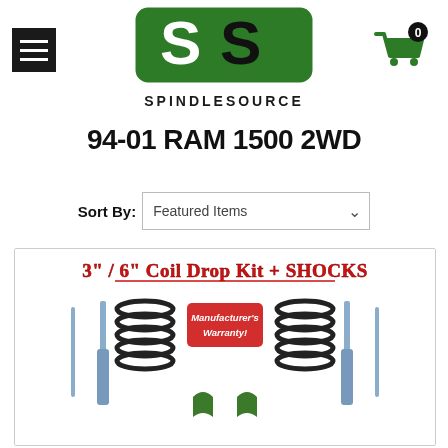[Figure (logo): SpindleSource logo — green square with white S shapes and SPINDLESOURCE text below]
94-01 RAM 1500 2WD
Sort By: Featured Items
[Figure (photo): 3"/6" Coil Drop Kit + SHOCKS product image showing coil springs, shocks, and hardware components with Manufacturer's Warranty badge]